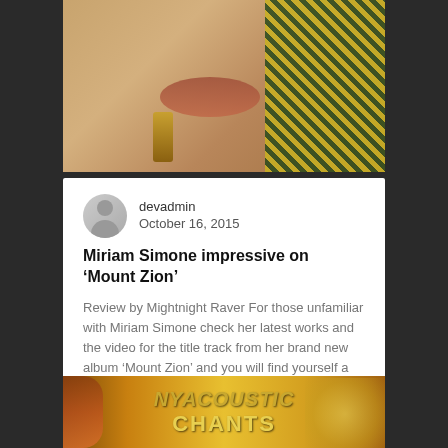[Figure (photo): Cropped close-up photo of a woman wearing a leopard-print headwrap and gold earrings against a light background]
devadmin
October 16, 2015
Miriam Simone impressive on ‘Mount Zion’
Review by Mightnight Raver For those unfamiliar with Miriam Simone check her latest works and the video for the title track from her brand new album ‘Mount Zion’ and you will find yourself a fan of one of reggae’s emerging new talents – a vocal queen with an uplifting message that resonates with the foundation...
[Figure (photo): Decorative album artwork with golden ornate background and large stylized text reading NYACOUSTIC CHANTS]